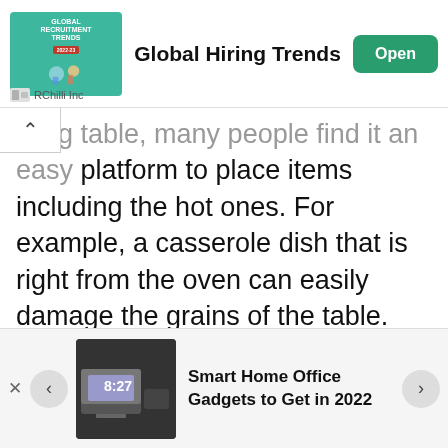[Figure (infographic): Top advertisement banner for 'Global Hiring Trends' by RChilli Inc with a teal recruitment image on the left, bold title in center, and green 'Open' button on the right.]
...dining table, many people find it an easy platform to place items including the hot ones. For example, a casserole dish that is right from the oven can easily damage the grains of the table. But this is not all. Even hot tea and plates can also cause damage the wooden table grains.
To protect your wooden table, you should consider using cork trivets under the serving pots. The trivets help to protect the table from scorching heat of the serving pieces. If possible, you should avoid placing hot items on the table...
[Figure (infographic): Bottom advertisement carousel showing 'Smart Home Office Gadgets to Get in 2022' with a thumbnail image of a home office, navigation arrows and a close button.]